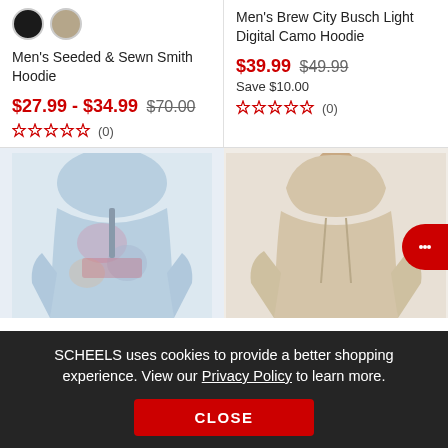[Figure (photo): Color swatches for Men's Seeded & Sewn Smith Hoodie - black and tan circles]
Men's Seeded & Sewn Smith Hoodie
$27.99 - $34.99  $70.00
☆☆☆☆☆ (0)
Men's Brew City Busch Light Digital Camo Hoodie
$39.99  $49.99
Save $10.00
☆☆☆☆☆ (0)
[Figure (photo): Blue tie-dye hoodie product photo]
[Figure (photo): Tan/beige hoodie product photo]
SCHEELS uses cookies to provide a better shopping experience. View our Privacy Policy to learn more.
CLOSE